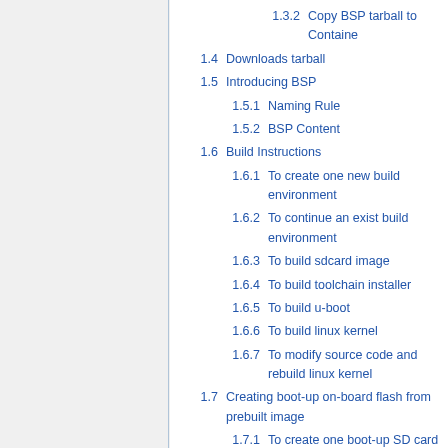1.3.2  Copy BSP tarball to Container
1.4  Downloads tarball
1.5  Introducing BSP
1.5.1  Naming Rule
1.5.2  BSP Content
1.6  Build Instructions
1.6.1  To create one new build environment
1.6.2  To continue an exist build environment
1.6.3  To build sdcard image
1.6.4  To build toolchain installer
1.6.5  To build u-boot
1.6.6  To build linux kernel
1.6.7  To modify source code and rebuild linux kernel
1.7  Creating boot-up on-board flash from prebuilt image
1.7.1  To create one boot-up SD card